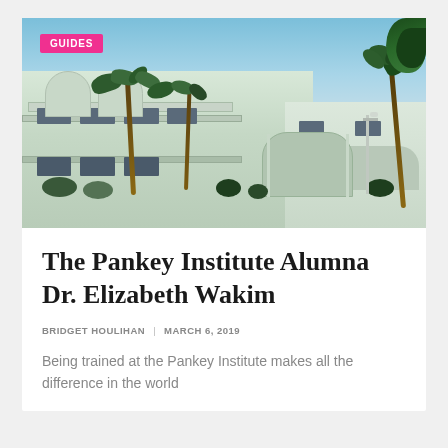[Figure (photo): Exterior photo of the Pankey Institute building — a white multi-story structure with arched colonnades, balconies, and surrounding palm trees under a blue sky. A pink 'GUIDES' tag overlays the top-left corner.]
The Pankey Institute Alumna Dr. Elizabeth Wakim
BRIDGET HOULIHAN | MARCH 6, 2019
Being trained at the Pankey Institute makes all the difference in the world